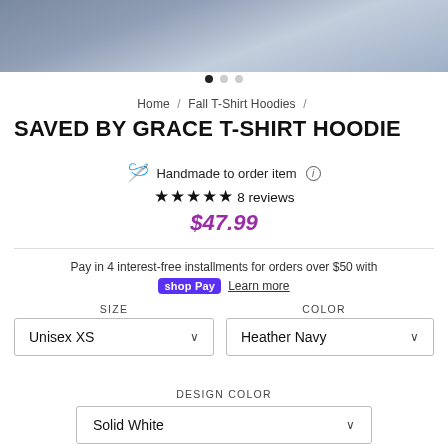[Figure (photo): Product photo of a navy hoodie on a wooden surface, partially cropped at top]
Home / Fall T-Shirt Hoodies /
SAVED BY GRACE T-SHIRT HOODIE
Handmade to order item (i)
★★★★★ 8 reviews
$47.99
Pay in 4 interest-free installments for orders over $50 with shop Pay Learn more
SIZE
COLOR
Unisex XS
Heather Navy
DESIGN COLOR
Solid White